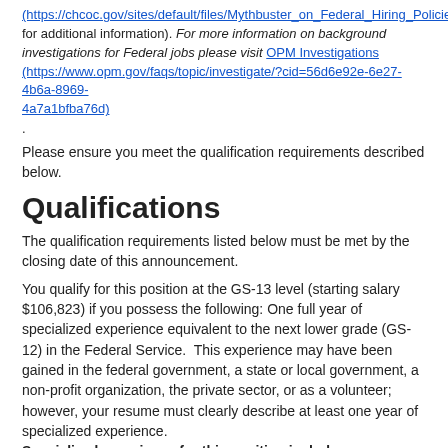(https://chcoc.gov/sites/default/files/Mythbuster_on_Federal_Hiring_Policies_0.pdf) for additional information). For more information on background investigations for Federal jobs please visit OPM Investigations (https://www.opm.gov/faqs/topic/investigate/?cid=56d6e92e-6e27-4b6a-8969-4a7a1bfba76d)
.
Please ensure you meet the qualification requirements described below.
Qualifications
The qualification requirements listed below must be met by the closing date of this announcement.
You qualify for this position at the GS-13 level (starting salary $106,823) if you possess the following: One full year of specialized experience equivalent to the next lower grade (GS-12) in the Federal Service.  This experience may have been gained in the federal government, a state or local government, a non-profit organization, the private sector, or as a volunteer; however, your resume must clearly describe at least one year of specialized experience. Specialized experience for this position includes:
Conducting Freedom of Information Act (FOIA) and Privacy Act (PA) data analysis involving principles of accounting, management science, and statistical theory using spreadsheets (Excel) or a database computer